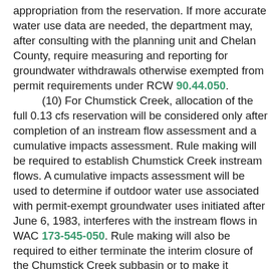appropriation from the reservation. If more accurate water use data are needed, the department may, after consulting with the planning unit and Chelan County, require measuring and reporting for groundwater withdrawals otherwise exempted from permit requirements under RCW 90.44.050.
(10) For Chumstick Creek, allocation of the full 0.13 cfs reservation will be considered only after completion of an instream flow assessment and a cumulative impacts assessment. Rule making will be required to establish Chumstick Creek instream flows. A cumulative impacts assessment will be used to determine if outdoor water use associated with permit-exempt groundwater uses initiated after June 6, 1983, interferes with the instream flows in WAC 173-545-050. Rule making will also be required to either terminate the interim closure of the Chumstick Creek subbasin or to make it permanent.
(11) For Mission Creek, the interim reservation will terminate after two years. A cumulative impacts assessment will be used to determine if outdoor water use associated with permit-exempt groundwater uses